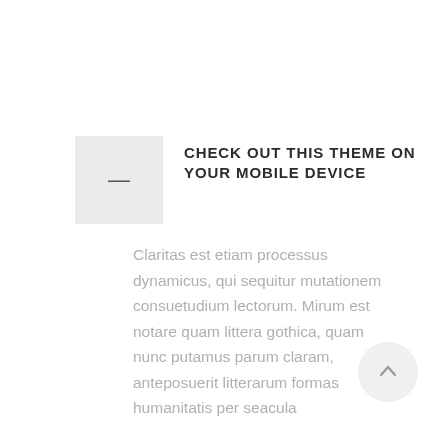[Figure (other): Small square icon with a minus/dash symbol on a light grey background]
CHECK OUT THIS THEME ON YOUR MOBILE DEVICE
Claritas est etiam processus dynamicus, qui sequitur mutationem consuetudium lectorum. Mirum est notare quam littera gothica, quam nunc putamus parum claram, anteposuerit litterarum formas humanitatis per seacula
[Figure (other): Circular scroll-to-top button with an upward arrow, light grey background]